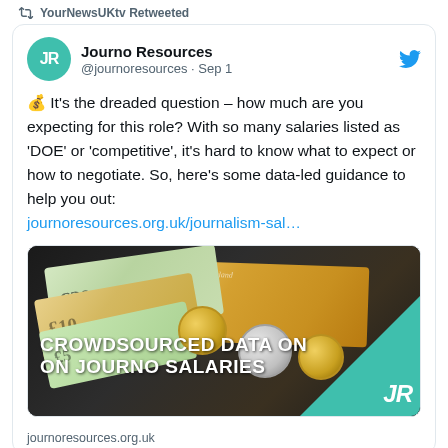YourNewsUKtv Retweeted
Journo Resources @journoresources · Sep 1
💰 It's the dreaded question – how much are you expecting for this role? With so many salaries listed as 'DOE' or 'competitive', it's hard to know what to expect or how to negotiate. So, here's some data-led guidance to help you out: journoresources.org.uk/journalism-sal…
[Figure (photo): Photo of British pound banknotes (£20, £10, £5) and coins on a dark background, with white text overlay reading 'CROWDSOURCED DATA ON ON JOURNO SALARIES' and a teal JR logo badge in the bottom right corner.]
journoresources.org.uk